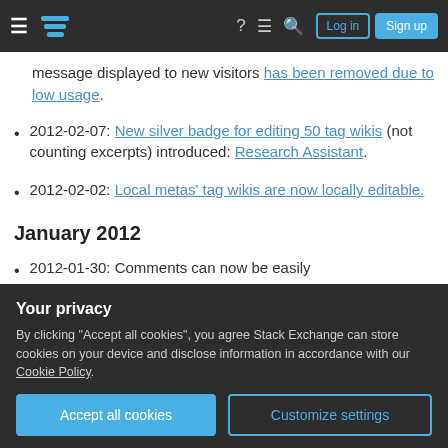Stack Exchange navigation bar with Log in and Sign up buttons
message displayed to new visitors has been removed due to low usage.
2012-02-07: New silver badge for editing 50 tag wikis (not counting excerpts) introduced: Research Assistant.
2012-02-02: Local metas' tag wikis are now locally editable.
January 2012
2012-01-30: Comments can now be easily
Your privacy
By clicking "Accept all cookies", you agree Stack Exchange can store cookies on your device and disclose information in accordance with our Cookie Policy.
to decline the suggested edit with no reputation bonus to the suggester.